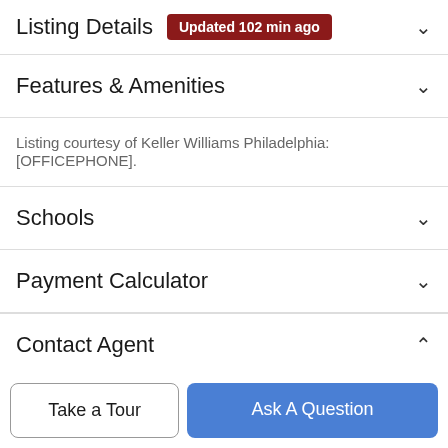Listing Details  Updated 102 min ago
Features & Amenities
Listing courtesy of Keller Williams Philadelphia: [OFFICEPHONE].
Schools
Payment Calculator
Contact Agent
[Figure (photo): Circular profile photo of a male real estate agent, middle-aged, blonde/gray hair, smiling.]
Take a Tour
Ask A Question